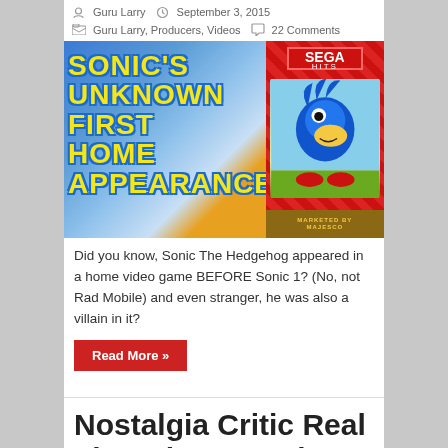Guru Larry  September 3, 2015
Guru Larry, Producers, Videos  22 Comments
[Figure (photo): Thumbnail image showing 'Sonic's Unknown First Home Appearance' title text on a blue background on the left, and a SEGA Hits Sonic the Hedgehog game cartridge box art on the right with red diamond pattern background.]
Did you know, Sonic The Hedgehog appeared in a home video game BEFORE Sonic 1? (No, not Rad Mobile) and even stranger, he was also a villain in it?
Read More »
Nostalgia Critic Real Thoughts On: The Sonic